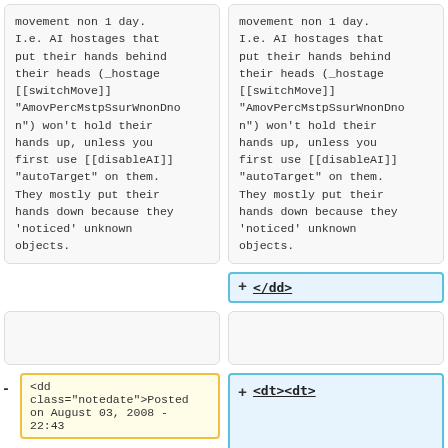movement non 1 day.
I.e. AI hostages that put their hands behind their heads (_hostage [[switchMove]] "AmovPercMstpSsurWnonDnon") won't hold their hands up, unless you first use [[disableAI]] "autoTarget" on them. They mostly put their hands down because they 'noticed' unknown objects.
movement non 1 day.
I.e. AI hostages that put their hands behind their heads (_hostage [[switchMove]] "AmovPercMstpSsurWnonDnon") won't hold their hands up, unless you first use [[disableAI]] "autoTarget" on them. They mostly put their hands down because they 'noticed' unknown objects.
</dd>
(empty block left)
(empty block right)
<dd class="notedate">Posted on August 03, 2008 - 22:43
<dt><dt>